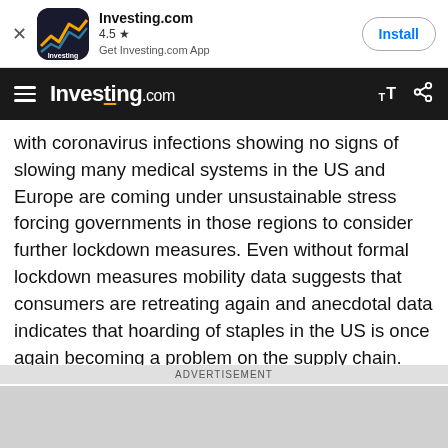[Figure (screenshot): Investing.com app install banner with app icon, 4.5 star rating, and Install button]
Investing.com navbar with hamburger menu, logo, text size controls, and share icon
with coronavirus infections showing no signs of slowing many medical systems in the US and Europe are coming under unsustainable stress forcing governments in those regions to consider further lockdown measures. Even without formal lockdown measures mobility data suggests that consumers are retreating again and anecdotal data indicates that hoarding of staples in the US is once again becoming a problem on the supply chain.
All of this suggests that the economic rebound from spring lows may be in danger of slowing as economic
ADVERTISEMENT